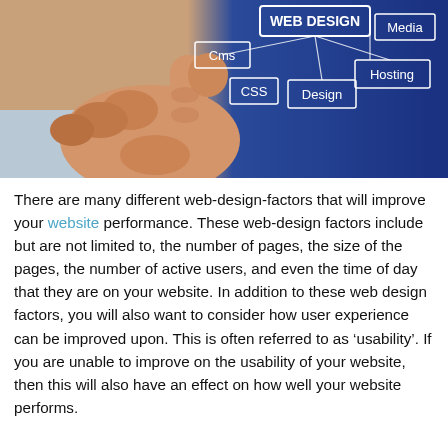[Figure (photo): A hand pointing at a blue background with web design concept labels: WEB DESIGN (top), CMS, CSS, Design, Hosting, Media — written in chalk or marker style on the blue surface.]
There are many different web-design-factors that will improve your website performance. These web-design factors include but are not limited to, the number of pages, the size of the pages, the number of active users, and even the time of day that they are on your website. In addition to these web design factors, you will also want to consider how user experience can be improved upon. This is often referred to as ‘usability’. If you are unable to improve on the usability of your website, then this will also have an effect on how well your website performs.